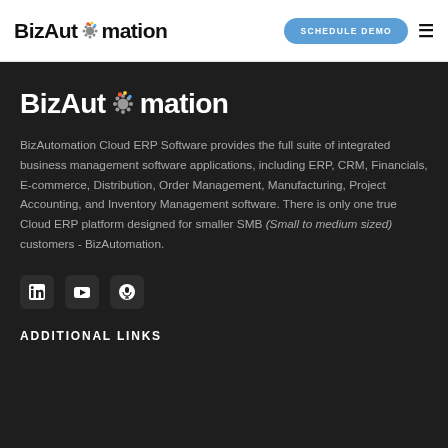BizAutomation | SCHEDULE DEMO
BizAutomation
BizAutomation Cloud ERP Software provides the full suite of integrated business management software applications, including ERP, CRM, Financials, E-commerce, Distribution, Order Management, Manufacturing, Project Accounting, and Inventory Management software. There is only one true Cloud ERP platform designed for smaller SMB (Small to medium sized) customers - BizAutomation.
[Figure (illustration): Social media icons: LinkedIn, YouTube, and a microphone/podcast icon]
ADDITIONAL LINKS